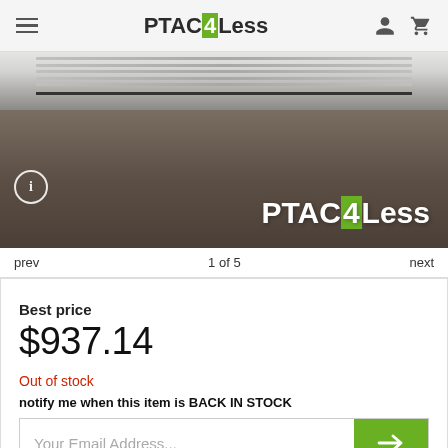PTAC4Less
[Figure (photo): Product photo of a PTAC (Packaged Terminal Air Conditioner) unit viewed from the front/top, placed on a concrete floor. The image shows the white grille unit at the top and the PTAC4Less watermark logo overlaid on the lower right portion of the image.]
prev  1 of 5  next
Best price
$937.14
Out of stock
notify me when this item is BACK IN STOCK
Your Email Address...